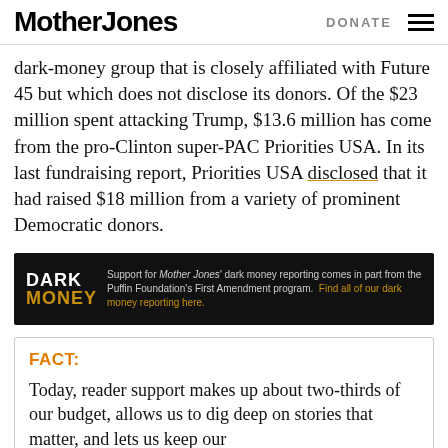Mother Jones | DONATE
dark-money group that is closely affiliated with Future 45 but which does not disclose its donors. Of the $23 million spent attacking Trump, $13.6 million has come from the pro-Clinton super-PAC Priorities USA. In its last fundraising report, Priorities USA disclosed that it had raised $18 million from a variety of prominent Democratic donors.
[Figure (infographic): Dark Money banner ad: 'Support for Mother Jones' dark money reporting comes in part from the Puffin Foundation's First Amendment program. Find all of our dark money reporting here.']
FACT: Today, reader support makes up about two-thirds of our budget, allows us to dig deep on stories that matter, and lets us keep our